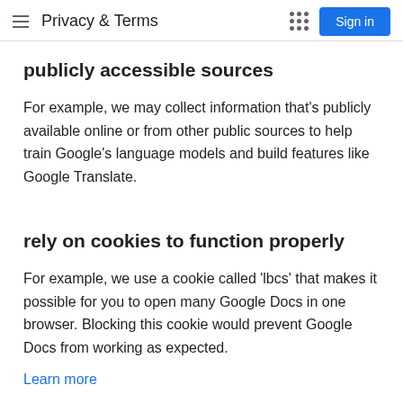Privacy & Terms
publicly accessible sources
For example, we may collect information that's publicly available online or from other public sources to help train Google's language models and build features like Google Translate.
rely on cookies to function properly
For example, we use a cookie called 'lbcs' that makes it possible for you to open many Google Docs in one browser. Blocking this cookie would prevent Google Docs from working as expected.
Learn more